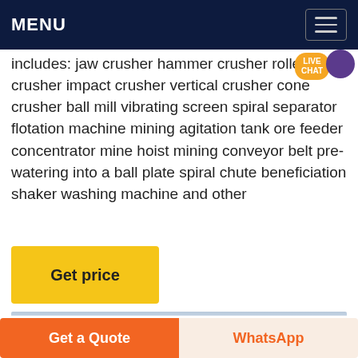MENU
includes: jaw crusher hammer crusher roller crusher impact crusher vertical crusher cone crusher ball mill vibrating screen spiral separator flotation machine mining agitation tank ore feeder concentrator mine hoist mining conveyor belt pre-watering into a ball plate spiral chute beneficiation shaker washing machine and other
[Figure (other): Yellow 'Get price' button]
[Figure (photo): Sky with clouds photo]
Get a Quote | WhatsApp